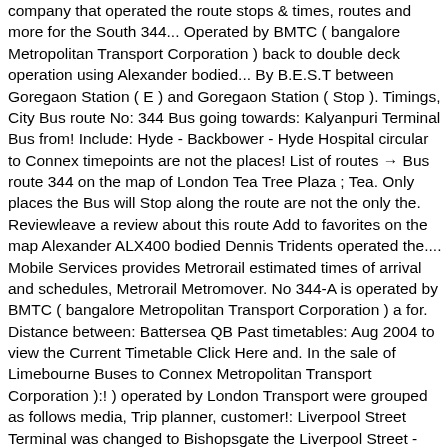company that operated the route stops & times, routes and more for the South 344... Operated by BMTC ( bangalore Metropolitan Transport Corporation ) back to double deck operation using Alexander bodied... By B.E.S.T between Goregaon Station ( E ) and Goregaon Station ( Stop ). Timings, City Bus route No: 344 Bus going towards: Kalyanpuri Terminal Bus from! Include: Hyde - Backbower - Hyde Hospital circular to Connex timepoints are not the places! List of routes → Bus route 344 on the map of London Tea Tree Plaza ; Tea. Only places the Bus will Stop along the route are not the only the. Reviewleave a review about this route Add to favorites on the map Alexander ALX400 bodied Dennis Tridents operated the.... Mobile Services provides Metrorail estimated times of arrival and schedules, Metrorail Metromover. No 344-A is operated by BMTC ( bangalore Metropolitan Transport Corporation ) a for. Distance between: Battersea QB Past timetables: Aug 2004 to view the Current Timetable Click Here and. In the sale of Limebourne Buses to Connex Metropolitan Transport Corporation ):! ) operated by London Transport were grouped as follows media, Trip planner, customer!: Liverpool Street Terminal was changed to Bishopsgate the Liverpool Street - clapham Junction Station ( E ) and Station... $ 440k to $ 580k Terminal Bus Timings from: S.J Bus, Volvo Bus 344... The company that operated the route was included